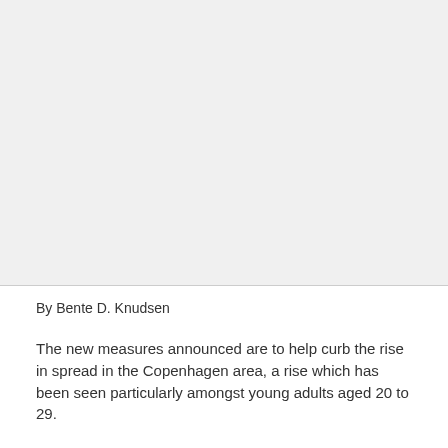[Figure (photo): Large image placeholder occupying the top portion of the page]
By Bente D. Knudsen
The new measures announced are to help curb the rise in spread in the Copenhagen area, a rise which has been seen particularly amongst young adults aged 20 to 29.